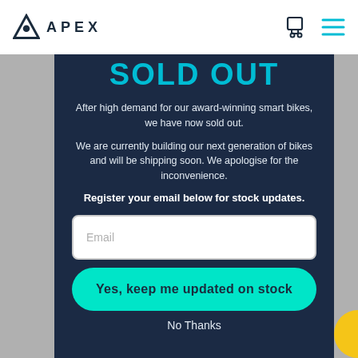APEX
SOLD OUT
After high demand for our award-winning smart bikes, we have now sold out.
We are currently building our next generation of bikes and will be shipping soon. We apologise for the inconvenience.
Register your email below for stock updates.
Email
Yes, keep me updated on stock
No Thanks